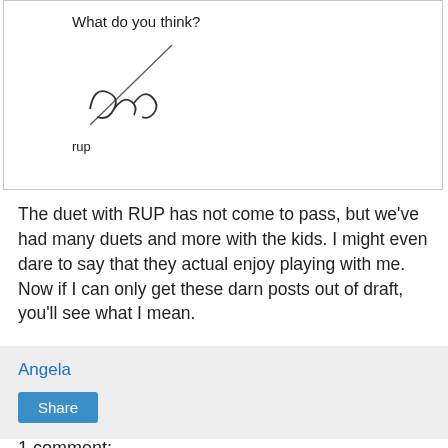[Figure (illustration): Handwritten note with text 'What do you think?' followed by a cursive signature and the printed text 'rup' below it]
The duet with RUP has not come to pass, but we've had many duets and more with the kids. I might even dare to say that they actual enjoy playing with me. Now if I can only get these darn posts out of draft, you'll see what I mean.
Angela
Share
1 comment:
Anonymous said...
I enjpyed listening you played duet with kids. You accompanied Adam on "two grennadiers" and then with Dova, both were good, more important in harmony. You made kids like the music and you will always have them